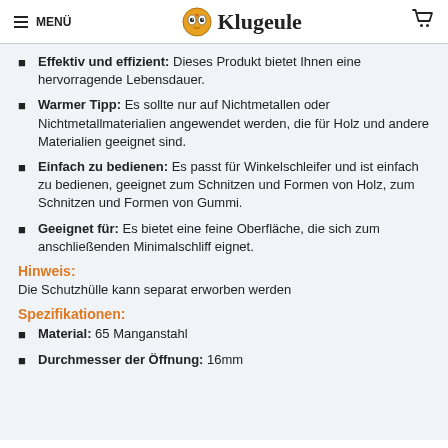MENÜ | Klugeule | [cart]
Effektiv und effizient: Dieses Produkt bietet Ihnen eine hervorragende Lebensdauer.
Warmer Tipp: Es sollte nur auf Nichtmetallen oder Nichtmetallmaterialien angewendet werden, die für Holz und andere Materialien geeignet sind.
Einfach zu bedienen: Es passt für Winkelschleifer und ist einfach zu bedienen, geeignet zum Schnitzen und Formen von Holz, zum Schnitzen und Formen von Gummi.
Geeignet für: Es bietet eine feine Oberfläche, die sich zum anschließenden Minimalschliff eignet.
Hinweis:
Die Schutzhülle kann separat erworben werden
Spezifikationen:
Material: 65 Manganstahl
Durchmesser der Öffnung: 16mm